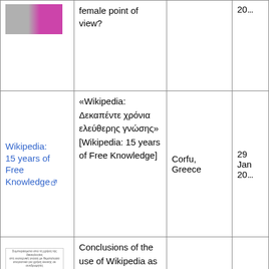| Image | Title | Location | Date |
| --- | --- | --- | --- |
| [image] | female point of view? |  | 20... |
| [Wikipedia: 15 years of Free Knowledge link] | «Wikipedia: Δεκαπέντε χρόνια ελεύθερης γνώσης» [Wikipedia: 15 years of Free Knowledge] | Corfu, Greece | 29 Jan 20... |
| [image] | Conclusions of the use of Wikipedia as educational ... | Athens, Greece | 8 No... |